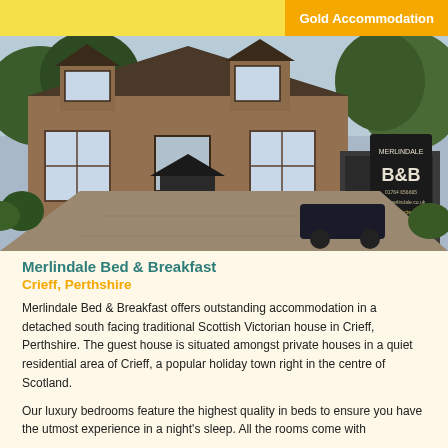Gold Accommodation
[Figure (photo): Exterior photo of Merlindale Bed & Breakfast, a traditional Scottish Victorian detached house with stone facade, black roof, and a B&B sign visible. Surrounded by trees and a paved driveway.]
Merlindale Bed & Breakfast
Crieff, Perthshire
Merlindale Bed & Breakfast offers outstanding accommodation in a detached south facing traditional Scottish Victorian house in Crieff, Perthshire. The guest house is situated amongst private houses in a quiet residential area of Crieff, a popular holiday town right in the centre of Scotland.
Our luxury bedrooms feature the highest quality in beds to ensure you have the utmost experience in a night's sleep. All the rooms come with